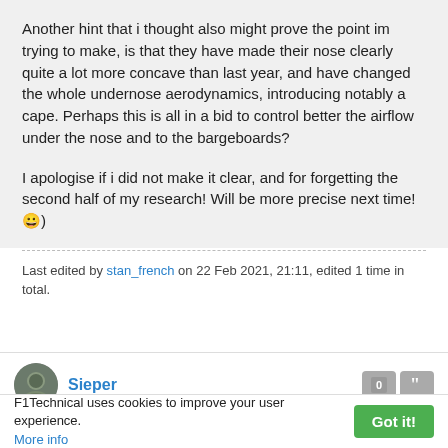Another hint that i thought also might prove the point im trying to make, is that they have made their nose clearly quite a lot more concave than last year, and have changed the whole undernose aerodynamics, introducing notably a cape. Perhaps this is all in a bid to control better the airflow under the nose and to the bargeboards?

I apologise if i did not make it clear, and for forgetting the second half of my research! Will be more precise next time! 😀)
Last edited by stan_french on 22 Feb 2021, 21:11, edited 1 time in total.
Sieper
22 Feb 2021, 21:59
F1Technical uses cookies to improve your user experience. More info